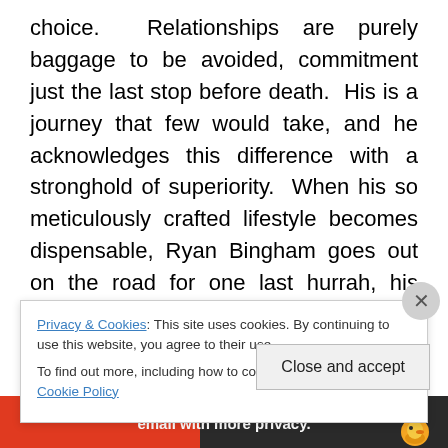choice.  Relationships are purely baggage to be avoided, commitment just the last stop before death.  His is a journey that few would take, and he acknowledges this difference with a stronghold of superiority.  When his so meticulously crafted lifestyle becomes dispensable, Ryan Bingham goes out on the road for one last hurrah, his company's freshly-minted innovator in tow.  23-year-old Natalie Keener (Anna Kendrick) gives Bingham every opportunity to condescend, yet in the end it's her lessons in idealist love that worm their way into his brain.  His life of fling finds its focus in Alex Goran (Vera Farmiga) and
Privacy & Cookies: This site uses cookies. By continuing to use this website, you agree to their use.
To find out more, including how to control cookies, see here: Cookie Policy
Close and accept
[Figure (other): Bottom banner advertisement with text 'email with more privacy.' and a duck logo on dark background]